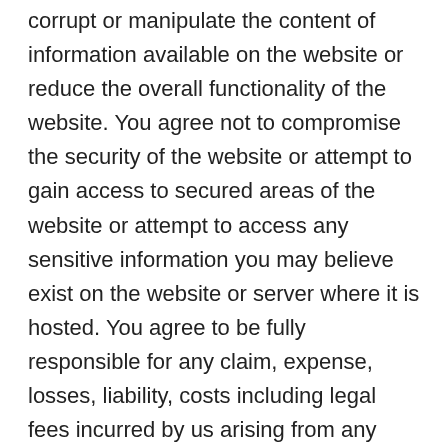corrupt or manipulate the content of information available on the website or reduce the overall functionality of the website. You agree not to compromise the security of the website or attempt to gain access to secured areas of the website or attempt to access any sensitive information you may believe exist on the website or server where it is hosted. You agree to be fully responsible for any claim, expense, losses, liability, costs including legal fees incurred by us arising from any infringement of the terms and conditions in this agreement and to which you will have agreed if you continue to use the website. The reproduction, distribution in any method whether online or offline is strictly prohibited. The work on